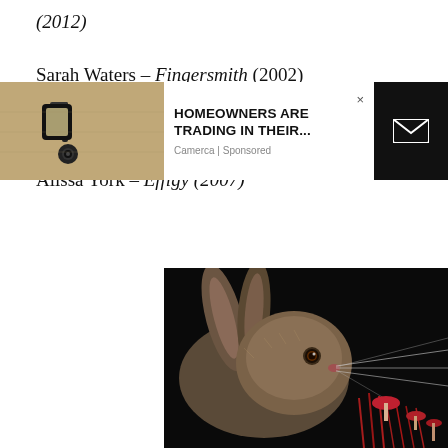(2012)
Sarah Waters – Fingersmith (2002)
Kathleen Winter – Annabel (2010)
Alissa York – Effigy (2007)
[Figure (photo): Painting of a hare's head against a dark background with red mushrooms]
[Figure (photo): Advertisement overlay: outdoor wall lamp photo on left, ad text 'HOMEOWNERS ARE TRADING IN THEIR...' by Camerca sponsored, with email icon on right]